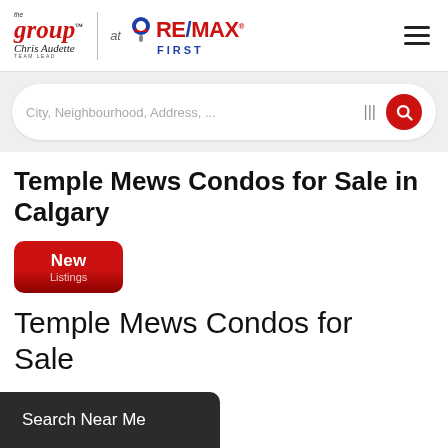[Figure (logo): The Group at RE/MAX First logo with Chris Audette Team Lead]
City, Neighbourhood, Address, ...
Temple Mews Condos for Sale in Calgary
New
Listings
Temple Mews Condos for Sale
Search Near Me
All listings